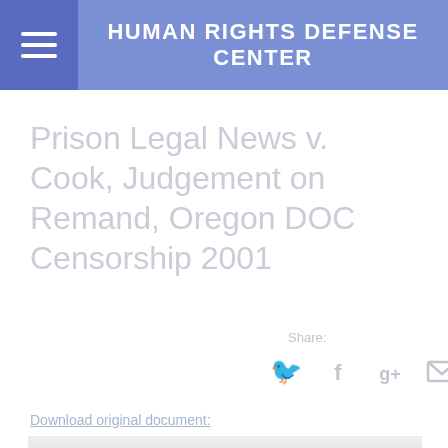HUMAN RIGHTS DEFENSE CENTER
Prison Legal News v. Cook, Judgement on Remand, Oregon DOC Censorship 2001
Share:
[Figure (other): Social media share icons: Twitter bird, Facebook f, Google plus g+, Email envelope]
Download original document:
[Figure (other): Faded preview/thumbnail of the original legal document with FILED stamp visible]